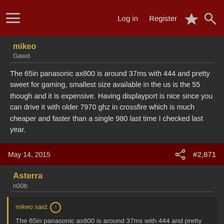Log in  Register  [lightning] [search]
mikeo
Gawd
The 65in panasonic ax800 is around 37ms with 444 and pretty sweet for gaming, smallest size available in the us is the 55 though and it is expensive. Having displayport is nice since you can drive it with older 7970 ghz in crossfire which is much cheaper and faster than a single 980 last time I checked last year.
May 14, 2015
#2,871
Asterra
n00b
mikeo said:
The 65in panasonic ax800 is around 37ms with 444 and pretty